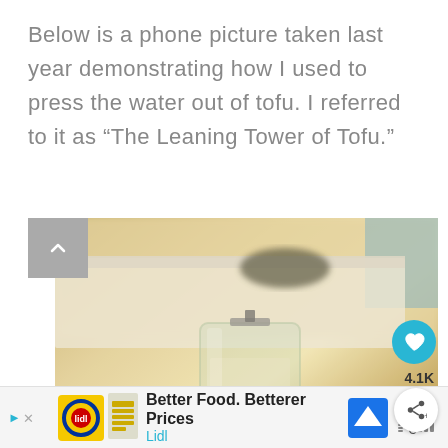Below is a phone picture taken last year demonstrating how I used to press the water out of tofu. I referred to it as “The Leaning Tower of Tofu.”
[Figure (photo): A blurry phone photo showing a glass jar with a clip-top lid placed on top of stacked books or flat objects, used as a tofu press. Warm yellowish tones. Part of a kitchen counter or shelf visible in the background.]